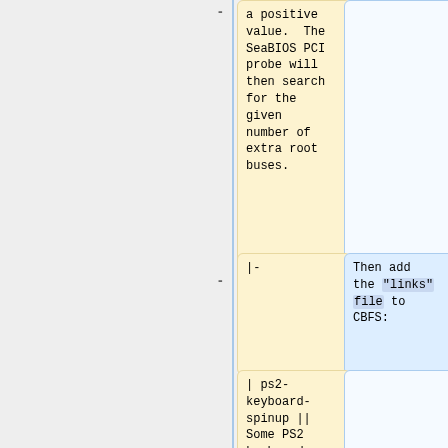a positive value. The SeaBIOS PCI probe will then search for the given number of extra root buses.
|-
Then add the "links" file to CBFS:
| ps2-keyboard-spinup || Some PS2 keyboards don't respond to